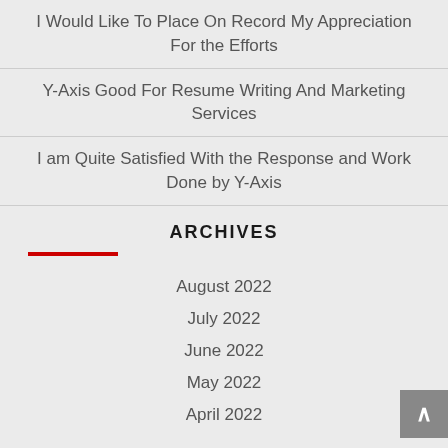I Would Like To Place On Record My Appreciation For the Efforts
Y-Axis Good For Resume Writing And Marketing Services
I am Quite Satisfied With the Response and Work Done by Y-Axis
ARCHIVES
August 2022
July 2022
June 2022
May 2022
April 2022